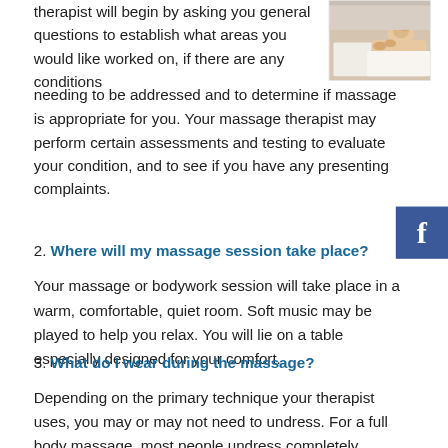therapist will begin by asking you general questions to establish what areas you would like worked on, if there are any conditions needing to be addressed and to determine if massage is appropriate for you. Your massage therapist may perform certain assessments and testing to evaluate your condition, and to see if you have any presenting complaints.
[Figure (photo): Photo of a person receiving a massage, lying face down on a massage table]
2. Where will my massage session take place?
Your massage or bodywork session will take place in a warm, comfortable, quiet room. Soft music may be played to help you relax. You will lie on a table especially designed for your comfort.
3. What do I wear during the massage?
Depending on the primary technique your therapist uses, you may or may not need to undress. For a full body massage, most people undress completely. However, you may choose to wear underwear. Your massage therapist will give you privacy to undress, and you will be covered with a sheet and blanket at all times except the area being worked on.
4. What do I do during a massage therapy treatment?